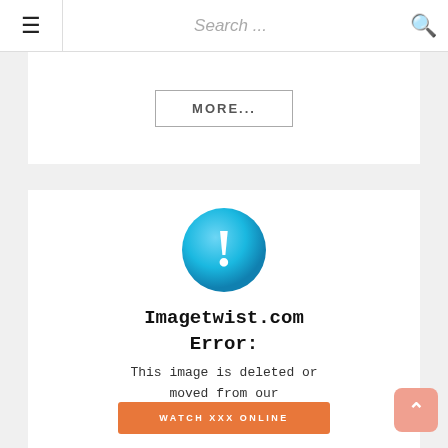≡  Search ...  🔍
MORE...
[Figure (illustration): Blue circle with white exclamation mark icon, followed by Imagetwist.com Error message and body text stating the image is deleted or moved from our servers.]
WATCH XXX ONLINE